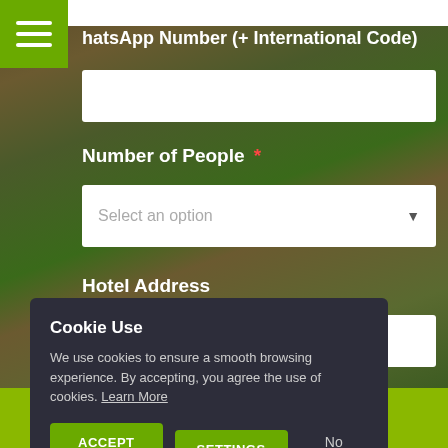hatsApp Number (+ International Code)
Number of People *
Select an option
Hotel Address
Cookie Use
We use cookies to ensure a smooth browsing experience. By accepting, you agree the use of cookies. Learn More
ACCEPT ALL
SETTINGS
No Thanks
HOME